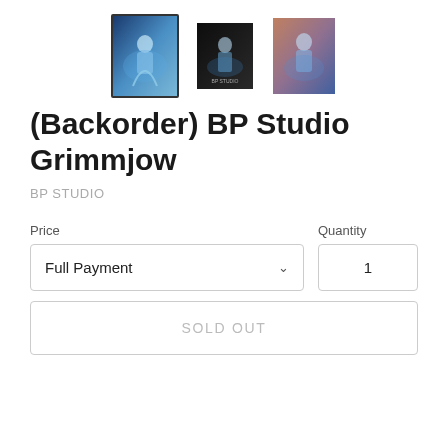[Figure (photo): Three product thumbnail images of BP Studio Grimmjow figure: first selected with border, second and third plain]
(Backorder) BP Studio Grimmjow
BP STUDIO
Price
Quantity
Full Payment
1
SOLD OUT